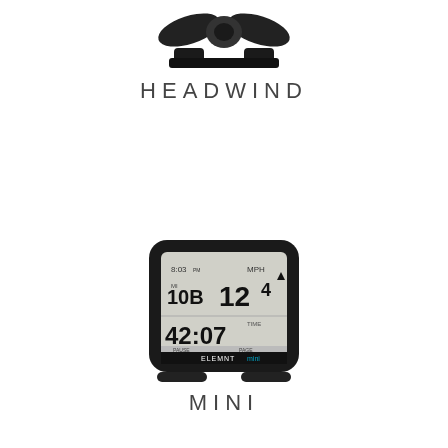[Figure (photo): Top portion of a Wahoo Headwind smart fan device, showing black fan blades and stand against white background]
HEADWIND
[Figure (photo): Wahoo ELEMNT Mini cycling GPS computer device, small black rectangular device with display showing 8:03, 10B, 12.4, 42:07, and PAUSE PAGE buttons at bottom]
MINI